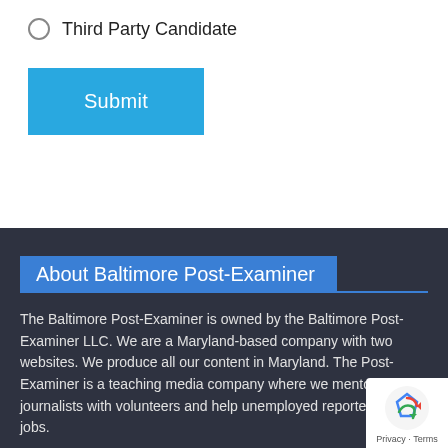Third Party Candidate
Submit
About Baltimore Post-Examiner
The Baltimore Post-Examiner is owned by the Baltimore Post-Examiner LLC. We are a Maryland-based company with two websites. We produce all our content in Maryland. The Post-Examiner is a teaching media company where we mentor journalists with volunteers and help unemployed reporters get jobs.